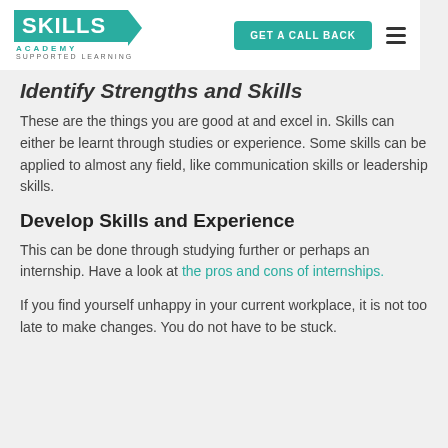[Figure (logo): Skills Academy – Supported Learning logo with teal background and arrow]
Identify Strengths and Skills
These are the things you are good at and excel in. Skills can either be learnt through studies or experience. Some skills can be applied to almost any field, like communication skills or leadership skills.
Develop Skills and Experience
This can be done through studying further or perhaps an internship. Have a look at the pros and cons of internships.
If you find yourself unhappy in your current workplace, it is not too late to make changes. You do not have to be stuck.